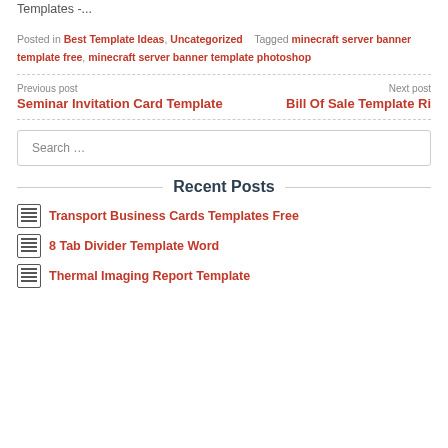Templates -...
Posted in Best Template Ideas, Uncategorized   Tagged minecraft server banner template free, minecraft server banner template photoshop
Previous post
Seminar Invitation Card Template
Next post
Bill Of Sale Template Ri
Search …
Recent Posts
Transport Business Cards Templates Free
8 Tab Divider Template Word
Thermal Imaging Report Template